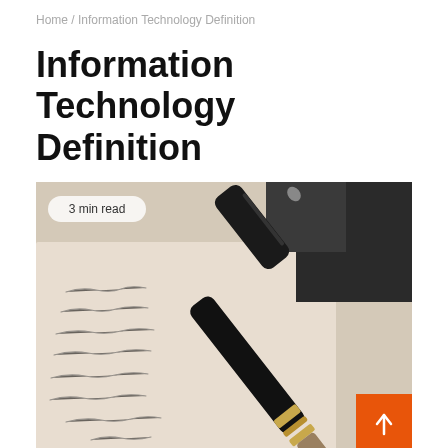Home / Information Technology Definition
Information Technology Definition
[Figure (photo): Close-up photo of a fountain pen resting on paper with handwritten text. A badge reads '3 min read'. An orange scroll-to-top button is visible in the bottom right.]